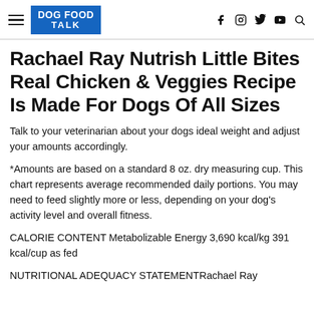DOG FOOD TALK
Rachael Ray Nutrish Little Bites Real Chicken & Veggies Recipe Is Made For Dogs Of All Sizes
Talk to your veterinarian about your dogs ideal weight and adjust your amounts accordingly.
*Amounts are based on a standard 8 oz. dry measuring cup. This chart represents average recommended daily portions. You may need to feed slightly more or less, depending on your dog's activity level and overall fitness.
CALORIE CONTENT Metabolizable Energy 3,690 kcal/kg 391 kcal/cup as fed
NUTRITIONAL ADEQUACY STATEMENTRachael Ray